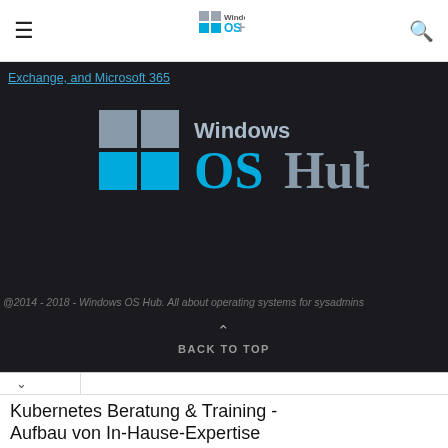Windows OSHub — navigation bar with hamburger menu and search icon
Exchange, and Microsoft 365
[Figure (logo): Windows OSHub logo — Windows 4-square icon in blue/grey with 'Windows OSHub' text in cyan and grey, on dark background]
@2014 - 2018 - Windows OS Hub. All about operating systems for sysadmins
BACK TO TOP
[Figure (other): Advertisement: Kubernetes Beratung & Training - Aufbau von In-Hause-Expertise. Wir bieten unterstützen Sie bei der Konzeption und Umsetzung Ihrer Cloud Infrastruktur. awesome-it.de/cloud. Button: ÖFFNEN]